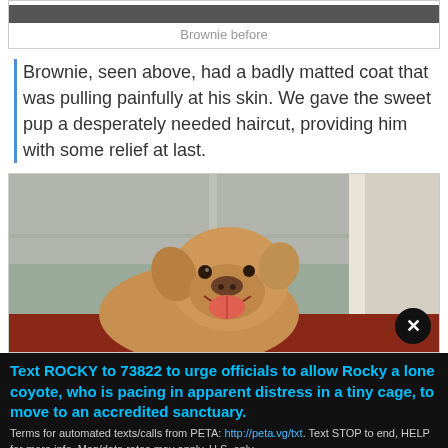Brownie before
Brownie, seen above, had a badly matted coat that was pulling painfully at his skin. We gave the sweet pup a desperately needed haircut, providing him with some relief at last.
[Figure (photo): Photo of a small dog (Brownie) with mouth open, standing near a door, after a haircut. Background shows a concrete wall and red mat.]
Text ROCKY to 73822 to urge officials to allow Rocky a lone coyote, who is pacing in apparent distress in a tiny cage, to move to an accredited sanctuary.
Terms for automated texts/calls from PETA: http://peta.vg/txt. Text STOP to end, HELP for more info. Msg/data rates may apply. U.S. only.